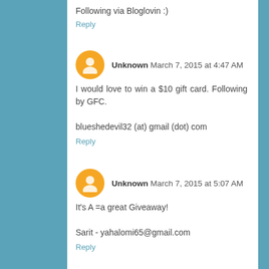Following via Bloglovin :)
Reply
Unknown  March 7, 2015 at 4:47 AM
I would love to win a $10 gift card. Following by GFC.

blueshedevil32 (at) gmail (dot) com
Reply
Unknown  March 7, 2015 at 5:07 AM
It's A =a great Giveaway!

Sarit - yahalomi65@gmail.com
Reply
Morgana DeLarge  March 7, 2015 at 5:44 AM